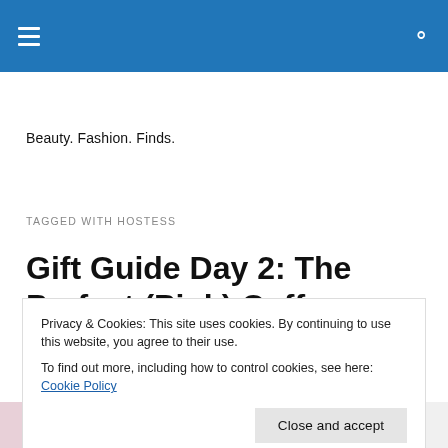Navigation bar with hamburger menu and search icon
Beauty. Fashion. Finds.
TAGGED WITH HOSTESS
Gift Guide Day 2: The Perfect (Pink) Coffee Table Book
Privacy & Cookies: This site uses cookies. By continuing to use this website, you agree to their use.
To find out more, including how to control cookies, see here: Cookie Policy
Close and accept
[Figure (photo): Bottom strip showing partial images of books/products]